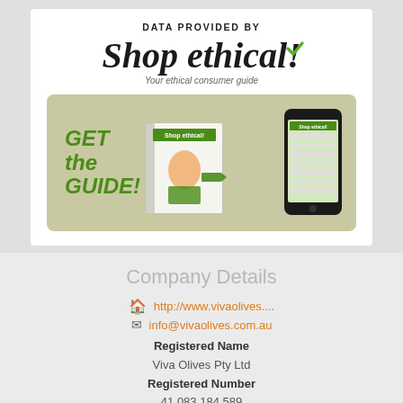[Figure (logo): Shop ethical! logo with tagline 'Your ethical consumer guide' and a promotional banner showing 'GET the GUIDE!' with book and smartphone mockups]
Company Details
http://www.vivaolives....
info@vivaolives.com.au
Registered Name
Viva Olives Pty Ltd
Registered Number
41 083 184 589